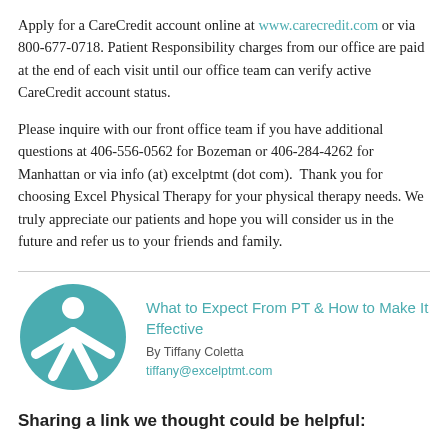Apply for a CareCredit account online at www.carecredit.com or via 800-677-0718. Patient Responsibility charges from our office are paid at the end of each visit until our office team can verify active CareCredit account status.
Please inquire with our front office team if you have additional questions at 406-556-0562 for Bozeman or 406-284-4262 for Manhattan or via info (at) excelptmt (dot com).  Thank you for choosing Excel Physical Therapy for your physical therapy needs. We truly appreciate our patients and hope you will consider us in the future and refer us to your friends and family.
[Figure (illustration): Teal circle with a stylized person/figure icon (head and outstretched arms forming an X shape), representing Excel Physical Therapy branding]
What to Expect From PT & How to Make It Effective
By Tiffany Coletta
tiffany@excelptmt.com
Sharing a link we thought could be helpful: